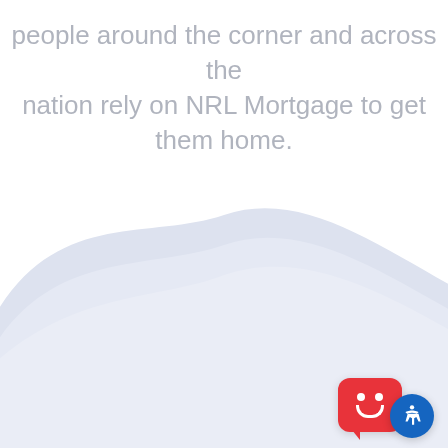people around the corner and across the nation rely on NRL Mortgage to get them home.
[Figure (illustration): Light blue-lavender wave shape filling the bottom half of the page, with a smooth hill-like curve peaking near the center-left.]
[Figure (illustration): Accessibility widget in bottom-right corner: a red rounded rectangle chat bubble icon with a smiley face, and a blue circular accessibility icon overlapping it.]